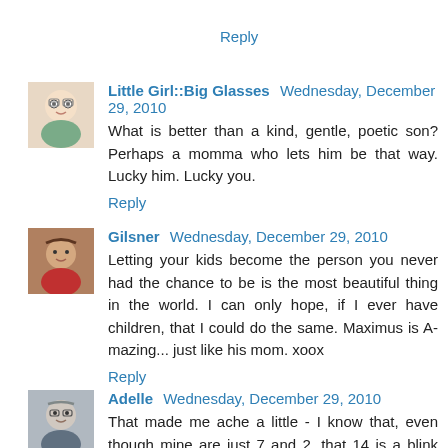Reply
Little Girl::Big Glasses  Wednesday, December 29, 2010
What is better than a kind, gentle, poetic son? Perhaps a momma who lets him be that way. Lucky him. Lucky you.
Reply
Gilsner  Wednesday, December 29, 2010
Letting your kids become the person you never had the chance to be is the most beautiful thing in the world. I can only hope, if I ever have children, that I could do the same. Maximus is A-mazing... just like his mom. xoox
Reply
Adelle  Wednesday, December 29, 2010
That made me ache a little - I know that, even though mine are just 7 and 2, that 14 is a blink away. A lovely tribute!